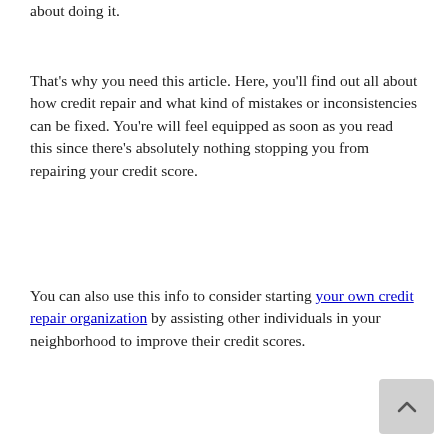about doing it.
That's why you need this article. Here, you'll find out all about how credit repair and what kind of mistakes or inconsistencies can be fixed. You're will feel equipped as soon as you read this since there's absolutely nothing stopping you from repairing your credit score.
You can also use this info to consider starting your own credit repair organization by assisting other individuals in your neighborhood to improve their credit scores.